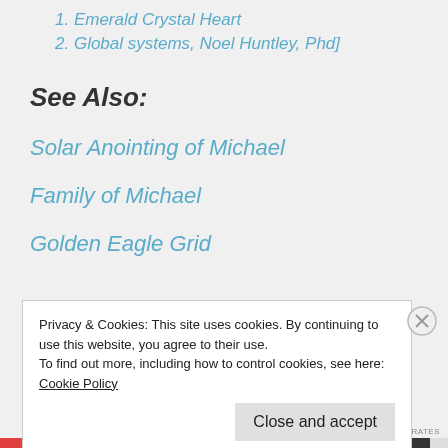1. Emerald Crystal Heart
2. Global systems, Noel Huntley, Phd]
See Also:
Solar Anointing of Michael
Family of Michael
Golden Eagle Grid
Privacy & Cookies: This site uses cookies. By continuing to use this website, you agree to their use.
To find out more, including how to control cookies, see here: Cookie Policy
Close and accept
HIPPOCRATES...